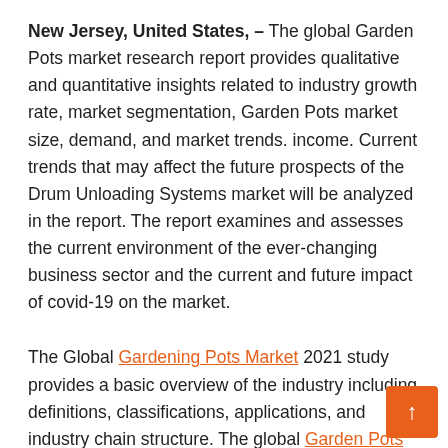New Jersey, United States, – The global Garden Pots market research report provides qualitative and quantitative insights related to industry growth rate, market segmentation, Garden Pots market size, demand, and market trends. income. Current trends that may affect the future prospects of the Drum Unloading Systems market will be analyzed in the report. The report examines and assesses the current environment of the ever-changing business sector and the current and future impact of covid-19 on the market.
The Global Gardening Pots Market 2021 study provides a basic overview of the industry including definitions, classifications, applications, and industry chain structure. The global Garden Pots market report is provided for the international market along with